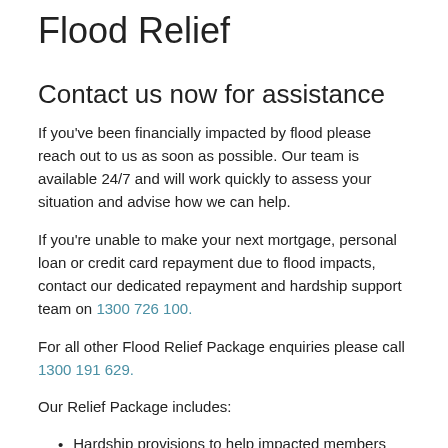Flood Relief
Contact us now for assistance
If you've been financially impacted by flood please reach out to us as soon as possible. Our team is available 24/7 and will work quickly to assess your situation and advise how we can help.
If you're unable to make your next mortgage, personal loan or credit card repayment due to flood impacts, contact our dedicated repayment and hardship support team on 1300 726 100.
For all other Flood Relief Package enquiries please call 1300 191 629.
Our Relief Package includes:
Hardship provisions to help impacted members through their situation.
Waiving fees associated with restructuring of loans needed because of flood or bushfire...